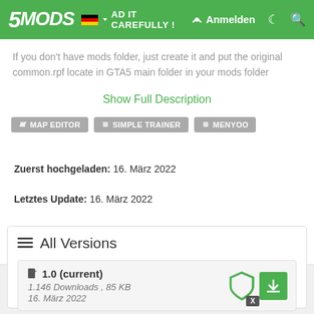5MODS — Anmelden
If you don't have mods folder, just create it and put the original common.rpf locate in GTA5 main folder in your mods folder
Show Full Description
MAP EDITOR
SIMPLE TRAINER
MENYOO
Zuerst hochgeladen: 16. März 2022
Letztes Update: 16. März 2022
Last Downloaded: 4 hours ago
All Versions
1.0 (current)
1.146 Downloads , 85 KB
16. März 2022